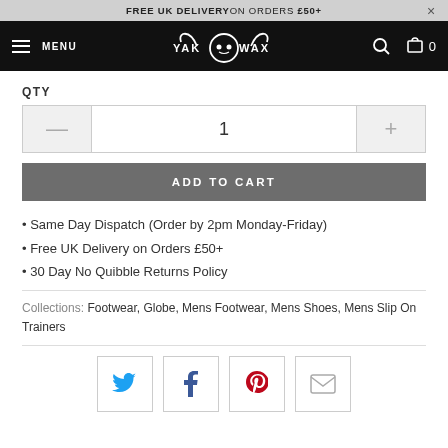FREE UK DELIVERY ON ORDERS £50+  ×
MENU  YAK WAX  🔍  🛒 0
QTY
— 1 +
ADD TO CART
• Same Day Dispatch (Order by 2pm Monday-Friday)
• Free UK Delivery on Orders £50+
• 30 Day No Quibble Returns Policy
Collections: Footwear, Globe, Mens Footwear, Mens Shoes, Mens Slip On Trainers
[Figure (infographic): Social share buttons: Twitter, Facebook, Pinterest, Email]